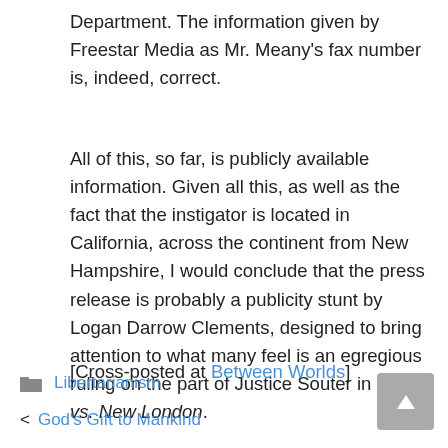Department. The information given by Freestar Media as Mr. Meany's fax number is, indeed, correct.
All of this, so far, is publicly available information. Given all this, as well as the fact that the instigator is located in California, across the continent from New Hampshire, I would conclude that the press release is probably a publicity stunt by Logan Darrow Clements, designed to bring attention to what many feel is an egregious ruling on the part of Justice Souter in Kelo vs. New London.
[Cross-posted at Between Worlds]
Libertarianism | < God's Gift to Mankind